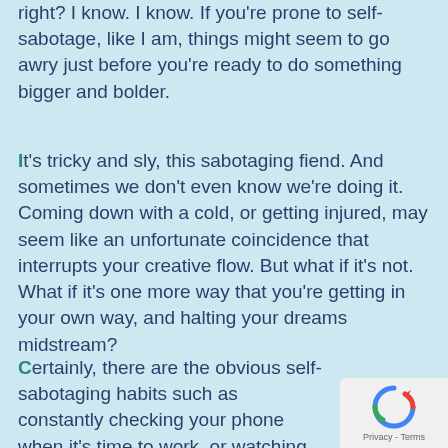right?  I know.  I know.  If you're prone to self-sabotage, like I am, things might seem to go awry just before you're ready to do something bigger and bolder.
It's tricky and sly, this sabotaging fiend.   And sometimes we don't even know we're doing it.  Coming down with a cold, or getting injured, may seem like an unfortunate coincidence that interrupts your creative flow.  But what if it's not.  What if it's one more way that you're getting in your own way, and halting your dreams midstream?
Certainly, there are the obvious self-sabotaging habits such as constantly checking your phone when it's time to work, or watching Netflix instead of writing your blog